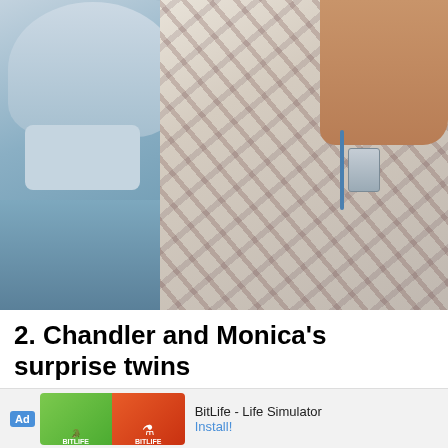[Figure (photo): A close-up scene from a TV show showing a person in surgical scrubs and cap with a mask (left) and another person wearing patterned scrubs in the center/right, appearing to be in a medical/hospital setting.]
2. Chandler and Monica's surprise twins
We k  Chandler and Monica kn w...
[Figure (other): Advertisement banner for BitLife - Life Simulator showing two app icons (green and orange-red) with 'Ad' label and 'Install!' call to action]